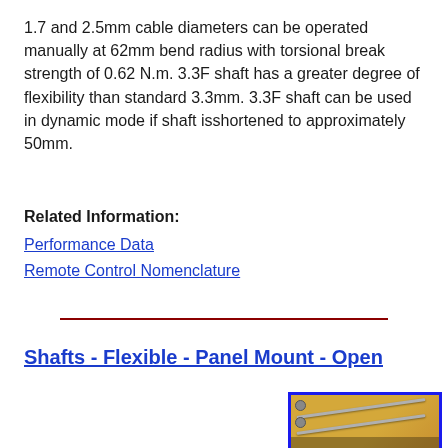1.7 and 2.5mm cable diameters can be operated manually at 62mm bend radius with torsional break strength of 0.62 N.m. 3.3F shaft has a greater degree of flexibility than standard 3.3mm. 3.3F shaft can be used in dynamic mode if shaft isshortened to approximately 50mm.
Related Information:
Performance Data
Remote Control Nomenclature
Shafts - Flexible - Panel Mount - Open
[Figure (photo): Photo of flexible panel mount open shafts — two metallic rods with ball-end fittings on an orange/golden background, partially shown within a blue-bordered box]